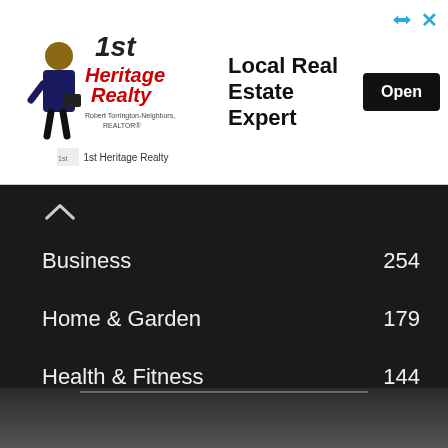[Figure (infographic): Advertisement banner for 1st Heritage Realty showing logo with a real estate agent character, headline 'Local Real Estate Expert', and an 'Open' button. Top-right corner shows forward/back and close icons.]
Business  254
Home & Garden  179
Health & Fitness  144
Technology  143
Lifestyle  106
Finance  94
Marketing  79
SEO  76
Auto  76